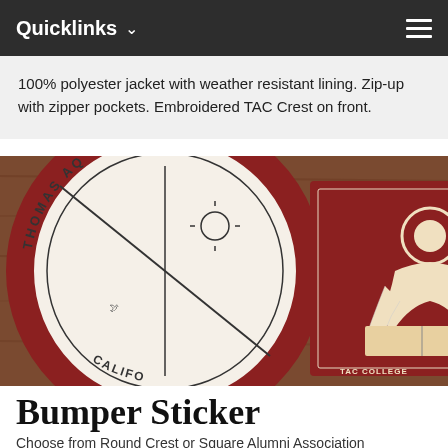Quicklinks
100% polyester jacket with weather resistant lining. Zip-up with zipper pockets. Embroidered TAC Crest on front.
[Figure (photo): Photo of Thomas Aquinas College bumper stickers on a wooden surface. One sticker shows a round crest with 'THOMAS AQ...' and 'CALIFO...' text. The other is a square maroon sticker showing a saint/scholar figure reading a book, with 'TAC COLLEGE' text visible.]
Bumper Sticker
Choose from Round Crest or Square Alumni Association